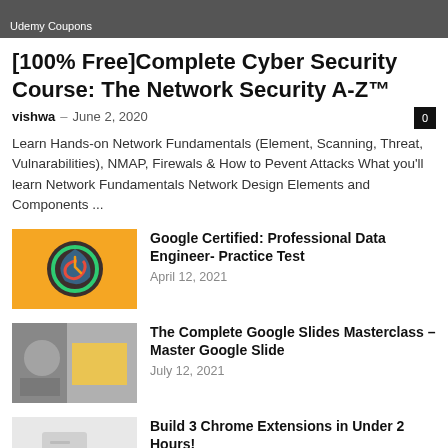Udemy Coupons
[100% Free]Complete Cyber Security Course: The Network Security A-Z™
vishwa – June 2, 2020
Learn Hands-on Network Fundamentals (Element, Scanning, Threat, Vulnarabilities), NMAP, Firewals & How to Pevent Attacks What you'll learn Network Fundamentals Network Design Elements and Components ...
[Figure (photo): Orange background with Google Cloud icon (circular logo with colorful arrow symbol)]
Google Certified: Professional Data Engineer- Practice Test
April 12, 2021
[Figure (photo): Woman in striped shirt holding a yellow folder or binder, gray background]
The Complete Google Slides Masterclass – Master Google Slide
July 12, 2021
[Figure (photo): Light gray thumbnail with document icon placeholder]
Build 3 Chrome Extensions in Under 2 Hours!
September 6, 2020